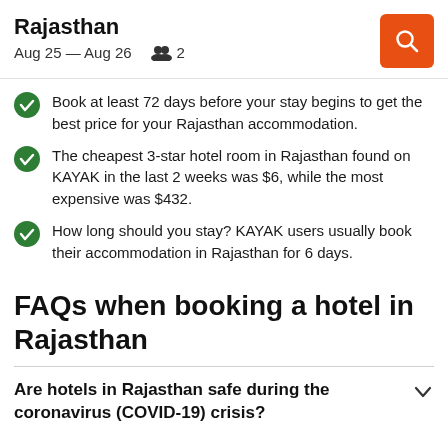Rajasthan
Aug 25 — Aug 26   👥 2
Book at least 72 days before your stay begins to get the best price for your Rajasthan accommodation.
The cheapest 3-star hotel room in Rajasthan found on KAYAK in the last 2 weeks was $6, while the most expensive was $432.
How long should you stay? KAYAK users usually book their accommodation in Rajasthan for 6 days.
FAQs when booking a hotel in Rajasthan
Are hotels in Rajasthan safe during the coronavirus (COVID-19) crisis?